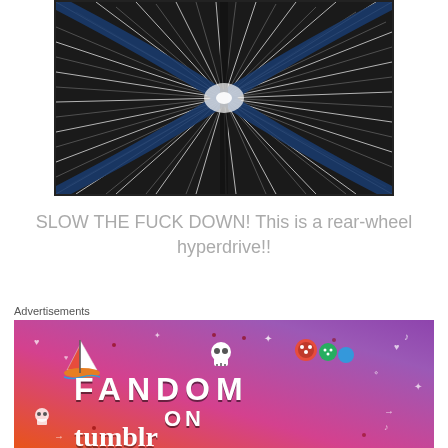[Figure (photo): Dramatic motion-blur photo viewed from rear of a vehicle showing a speedway/tunnel with radiating lines suggesting extreme speed, black and white with dark blue structural elements visible]
SLOW THE FUCK DOWN! This is a rear-wheel hyperdrive!!
Advertisements
[Figure (illustration): Colorful Tumblr advertisement with gradient background (orange to purple), text reading 'FANDOM ON tumblr' with white decorative doodles, stickers including a sailboat, skull, and polyhedral dice scattered around]